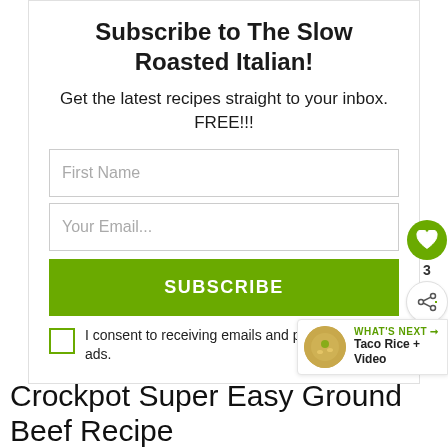Subscribe to The Slow Roasted Italian!
Get the latest recipes straight to your inbox. FREE!!!
First Name
Your Email...
SUBSCRIBE
I consent to receiving emails and personalized ads.
3
WHAT'S NEXT → Taco Rice + Video
Crockpot Super Easy Ground Beef Recipe